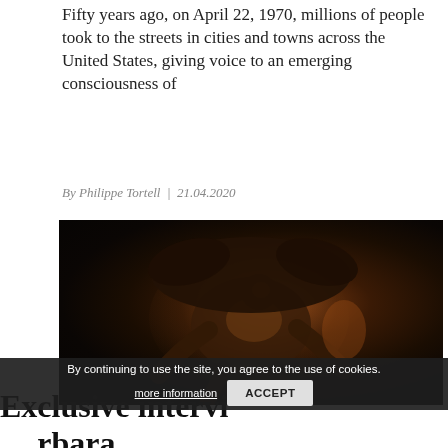Fifty years ago, on April 22, 1970, millions of people took to the streets in cities and towns across the United States, giving voice to an emerging consciousness of
By Philippe Tortell | 21.04.2020
[Figure (photo): Dark artistic photograph or sculpture of a muscular human figure bearing a large dark animal or beast across their back, rendered in deep blacks and browns with warm amber highlights, against a black background.]
By continuing to use the site, you agree to the use of cookies. more information  ACCEPT
Exclusive interview with Barbara Freese on coal and how